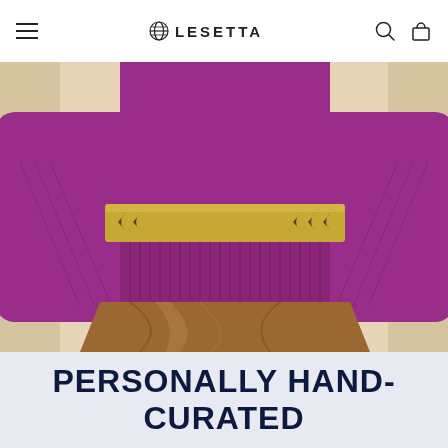LESETTA
[Figure (photo): Fashion photo of a woman wearing a purple/magenta cropped ribbed sweater with a wide gold decorative belt and a brown satin mini skirt, arms spread wide, cropped at mid-torso.]
PERSONALLY HAND-
CURATED